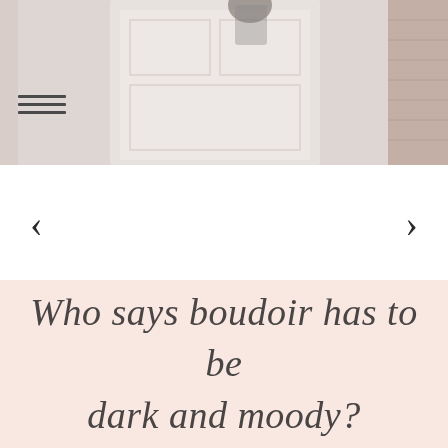[Figure (photo): A boudoir-style photo showing a woman in a light, airy setting with a weathered white door and brick wall background. Soft, pastel tones with a muted, vintage aesthetic.]
[Figure (infographic): Navigation carousel controls: left chevron arrow and right chevron arrow on a white background.]
Who says boudoir has to be dark and moody?